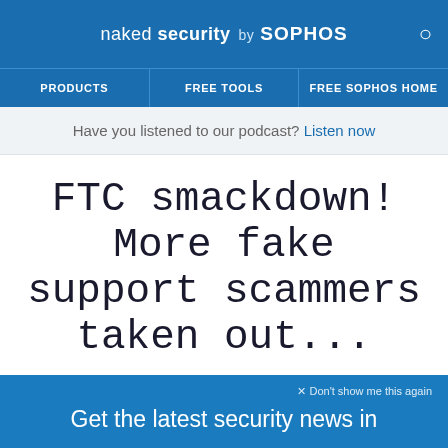naked security by SOPHOS
PRODUCTS | FREE TOOLS | FREE SOPHOS HOME
Have you listened to our podcast? Listen now
FTC smackdown! More fake support scammers taken out...
20 NOV 2014  7
Law & order, Malware
× Don't show me this again
Get the latest security news in